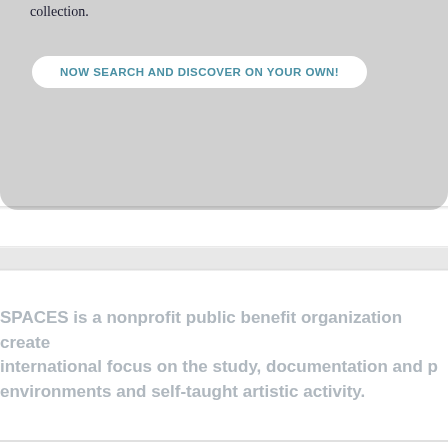collection.
NOW SEARCH AND DISCOVER ON YOUR OWN!
SPACES is a nonprofit public benefit organization created with an international focus on the study, documentation and preservation of environments and self-taught artistic activity.